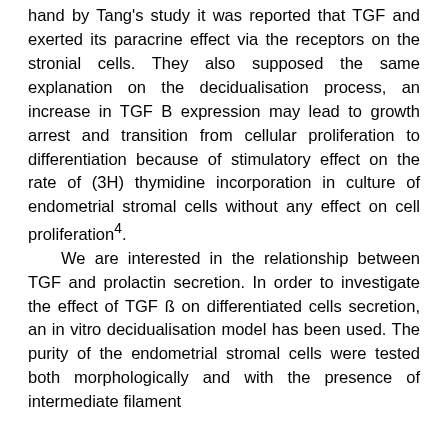hand by Tang's study it was reported that TGF and exerted its paracrine effect via the receptors on the stronial cells. They also supposed the same explanation on the decidualisation process, an increase in TGF B expression may lead to growth arrest and transition from cellular proliferation to differentiation because of stimulatory effect on the rate of (3H) thymidine incorporation in culture of endometrial stromal cells without any effect on cell proliferation4. We are interested in the relationship between TGF and prolactin secretion. In order to investigate the effect of TGF ß on differentiated cells secretion, an in vitro decidualisation model has been used. The purity of the endometrial stromal cells were tested both morphologically and with the presence of intermediate filament